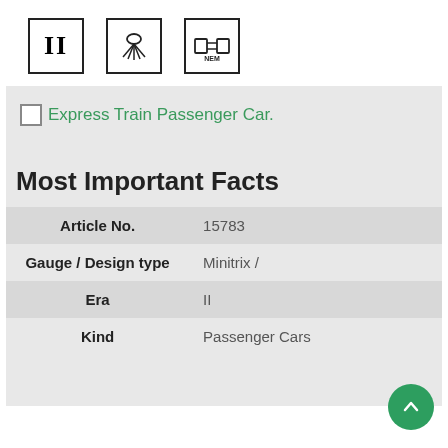[Figure (infographic): Three icon boxes in a row: Roman numeral II in a square border, a sun/rays icon in a square border, and a NEM connector icon in a square border]
Express Train Passenger Car.
Most Important Facts
|  |  |
| --- | --- |
| Article No. | 15783 |
| Gauge / Design type | Minitrix / |
| Era | II |
| Kind | Passenger Cars |